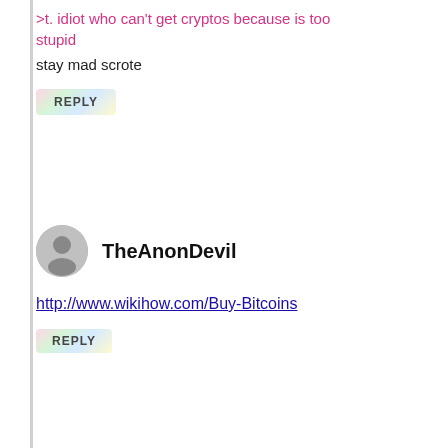>t. idiot who can't get cryptos because is too stupid
stay mad scrote
REPLY
TheAnonDevil
http://www.wikihow.com/Buy-Bitcoins
REPLY